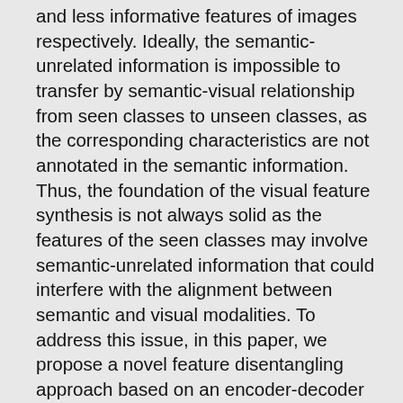and less informative features of images respectively. Ideally, the semantic-unrelated information is impossible to transfer by semantic-visual relationship from seen classes to unseen classes, as the corresponding characteristics are not annotated in the semantic information. Thus, the foundation of the visual feature synthesis is not always solid as the features of the seen classes may involve semantic-unrelated information that could interfere with the alignment between semantic and visual modalities. To address this issue, in this paper, we propose a novel feature disentangling approach based on an encoder-decoder architecture to factorize visual features of images into these two latent feature spaces to extract corresponding representations. Furthermore, a relation module is incorporated into this architecture to learn semantic-visual